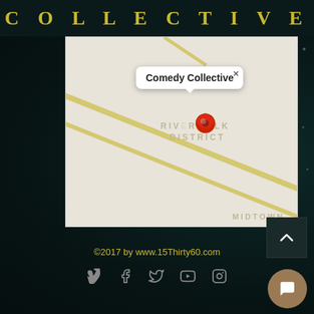COLLECTIVE
[Figure (map): Google Maps screenshot showing a map pin labeled 'Comedy Collective' in the Riverwalk District area, with Midtown visible at bottom right. The map shows light beige roads and terrain.]
©2017 by www.15Thirty60.com
[Figure (infographic): Social media icons row: Vimeo, Facebook, Twitter, YouTube, Instagram]